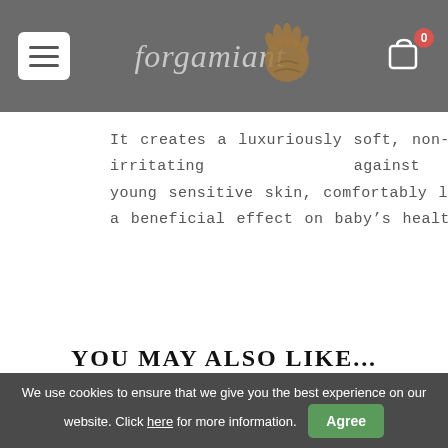forgamiant [logo with hand icon] [cart icon, badge: 0]
It creates a luxuriously soft, non-irritating against young sensitive skin, comfortably light fabric that has a beneficial effect on baby’s health.
YOU MAY ALSO LIKE...
We use cookies to ensure that we give you the best experience on our website. Click here for more information. Agree